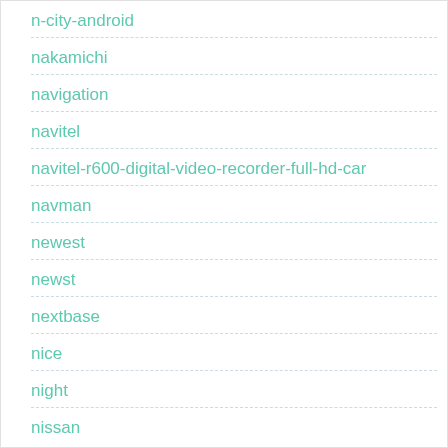n-city-android
nakamichi
navigation
navitel
navitel-r600-digital-video-recorder-full-hd-car
navman
newest
newst
nextbase
nice
night
nissan